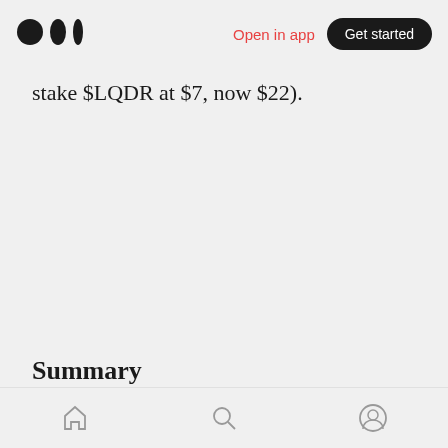Open in app | Get started
stake $LQDR at $7, now $22).
Summary
Home | Search | Profile